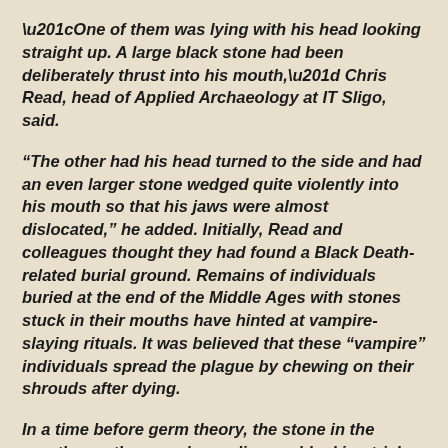“One of them was lying with his head looking straight up. A large black stone had been deliberately thrust into his mouth,” Chris Read, head of Applied Archaeology at IT Sligo, said.
“The other had his head turned to the side and had an even larger stone wedged quite violently into his mouth so that his jaws were almost dislocated,” he added. Initially, Read and colleagues thought they had found a Black Death-related burial ground. Remains of individuals buried at the end of the Middle Ages with stones stuck in their mouths have hinted at vampire-slaying rituals. It was believed that these “vampire” individuals spread the plague by chewing on their shrouds after dying.
In a time before germ theory, the stone in the mouth was then used as a disease-blocking trick. Since the vampire phenomenon didn’t emerge in European folklore until the 1500’s, the archaeologists ruled out this theory for the 8th century skeletons. “In this case, the stones in